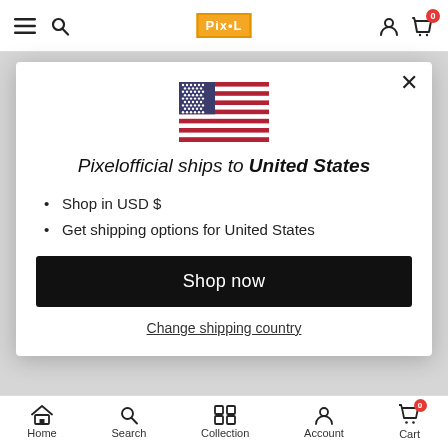Pixelofficial navigation bar with hamburger menu, search, logo, account, and cart icons
[Figure (screenshot): US flag emoji / illustration showing stars and stripes]
Pixelofficial ships to United States
Shop in USD $
Get shipping options for United States
Shop now
Change shipping country
Home  Search  Collection  Account  Cart